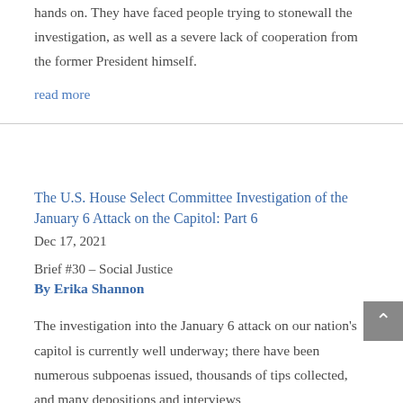hands on. They have faced people trying to stonewall the investigation, as well as a severe lack of cooperation from the former President himself.
read more
The U.S. House Select Committee Investigation of the January 6 Attack on the Capitol: Part 6
Dec 17, 2021
Brief #30 – Social Justice
By Erika Shannon
The investigation into the January 6 attack on our nation's capitol is currently well underway; there have been numerous subpoenas issued, thousands of tips collected, and many depositions and interviews